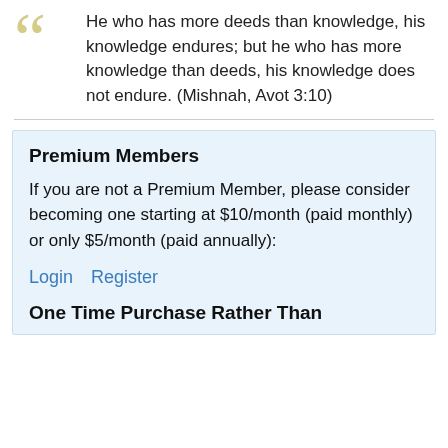He who has more deeds than knowledge, his knowledge endures; but he who has more knowledge than deeds, his knowledge does not endure. (Mishnah, Avot 3:10)
Premium Members
If you are not a Premium Member, please consider becoming one starting at $10/month (paid monthly) or only $5/month (paid annually):
Login
Register
One Time Purchase Rather Than